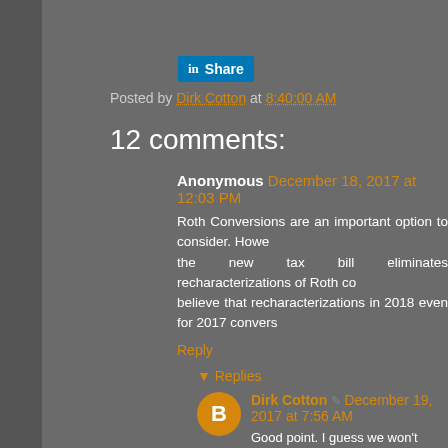[Figure (logo): LinkedIn Share button with blue background and 'in' logo icon]
Posted by Dirk Cotton at 8:40:00 AM
12 comments:
Anonymous December 18, 2017 at 12:03 PM
Roth Conversions are an important option to consider. However, the new tax bill eliminates recharacterizations of Roth co... believe that recharacterizations in 2018 even for 2017 convers...
Reply
▾ Replies
Dirk Cotton ✎ December 19, 2017 at 7:56 AM
Good point. I guess we won't know for sure until the can recategorize a 2017 conversion. Here's a discuss...